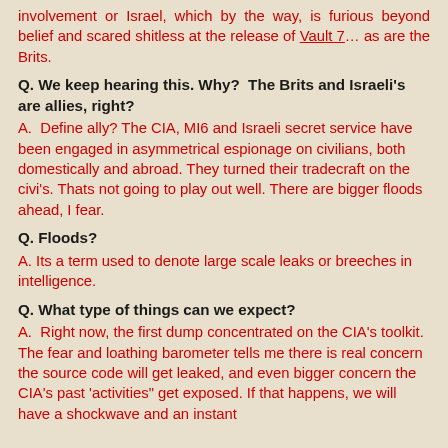involvement or Israel, which by the way, is furious beyond belief and scared shitless at the release of Vault 7… as are the Brits.
Q. We keep hearing this. Why? The Brits and Israeli's are allies, right?
A. Define ally? The CIA, MI6 and Israeli secret service have been engaged in asymmetrical espionage on civilians, both domestically and abroad. They turned their tradecraft on the civi's. Thats not going to play out well. There are bigger floods ahead, I fear.
Q. Floods?
A. Its a term used to denote large scale leaks or breeches in intelligence.
Q. What type of things can we expect?
A. Right now, the first dump concentrated on the CIA's toolkit. The fear and loathing barometer tells me there is real concern the source code will get leaked, and even bigger concern the CIA's past 'activities" get exposed. If that happens, we will have a shockwave and an instant